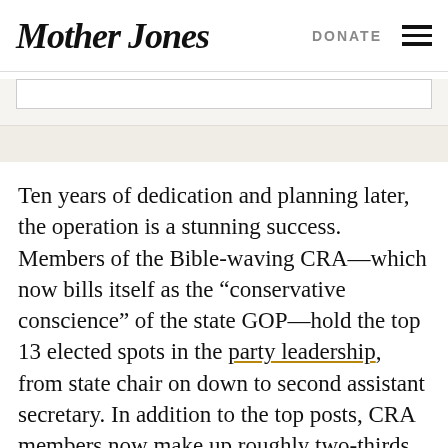Mother Jones | DONATE
Ten years of dedication and planning later, the operation is a stunning success. Members of the Bible-waving CRA—which now bills itself as the “conservative conscience” of the state GOP—hold the top 13 elected spots in the party leadership, from state chair on down to second assistant secretary. In addition to the top posts, CRA members now make up roughly two-thirds of the California Republican Party’s 1,700 voting members. That means they decide whom to nominate in the primaries—and whom to smear using their considerable resources